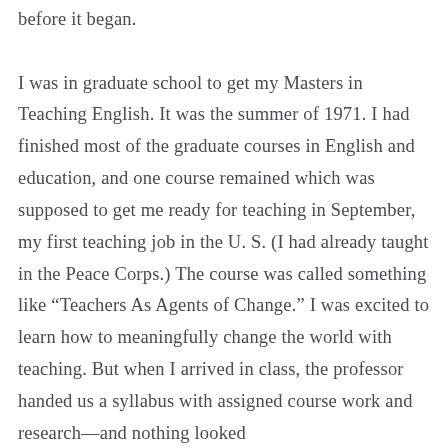before it began.

I was in graduate school to get my Masters in Teaching English. It was the summer of 1971. I had finished most of the graduate courses in English and education, and one course remained which was supposed to get me ready for teaching in September, my first teaching job in the U. S. (I had already taught in the Peace Corps.) The course was called something like “Teachers As Agents of Change.” I was excited to learn how to meaningfully change the world with teaching. But when I arrived in class, the professor handed us a syllabus with assigned course work and research—and nothing looked